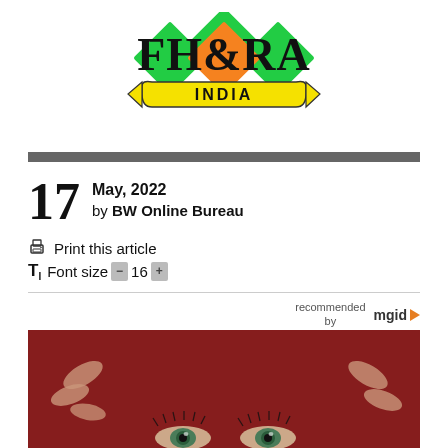[Figure (logo): FH&RA India logo with green and orange diamond shapes, yellow ribbon banner saying INDIA, and bold black text FH&RA]
17 May, 2022 by BW Online Bureau
Print this article
Font size - 16 +
recommended by mgid
[Figure (photo): Close-up photo of a woman with green eyes partially covered by a dark red knit fabric, hands holding the fabric]